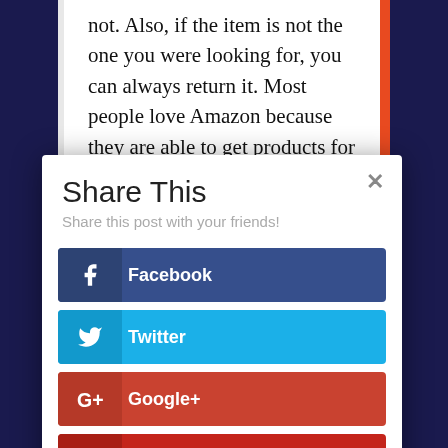not. Also, if the item is not the one you were looking for, you can always return it. Most people love Amazon because they are able to get products for less than Half the cost at times. This makes it easier
Share This
Share this post with your friends!
Facebook
Twitter
Google+
Pinterest